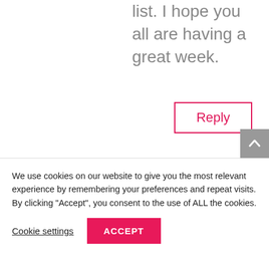list. I hope you all are having a great week.
Reply
Laverne Najarro on July 23, 2018 at 2:04 pm
sound like you know what you? re talking about! Thanks
We use cookies on our website to give you the most relevant experience by remembering your preferences and repeat visits. By clicking "Accept", you consent to the use of ALL the cookies.
Cookie settings
ACCEPT